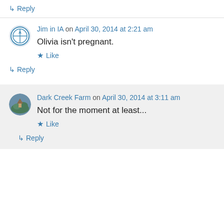↳ Reply
Jim in IA on April 30, 2014 at 2:21 am
Olivia isn't pregnant.
★ Like
↳ Reply
Dark Creek Farm on April 30, 2014 at 3:11 am
Not for the moment at least...
★ Like
↳ Reply